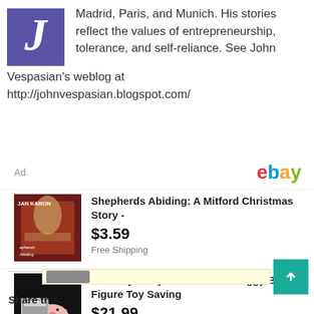[Figure (logo): Purple square with white italic letter J]
Madrid, Paris, and Munich. His stories reflect the values of entrepreneurship, tolerance, and self-reliance. See John Vespasian's weblog at http://johnvespasian.blogspot.com/
[Figure (other): eBay advertisement section with two product listings]
Shepherds Abiding: A Mitford Christmas Story -
$3.59
Free Shipping
New Toy Story 4 Hamm Coin Piggy Bank Figure Toy Saving
$21.99
Free Shipping
Share this: